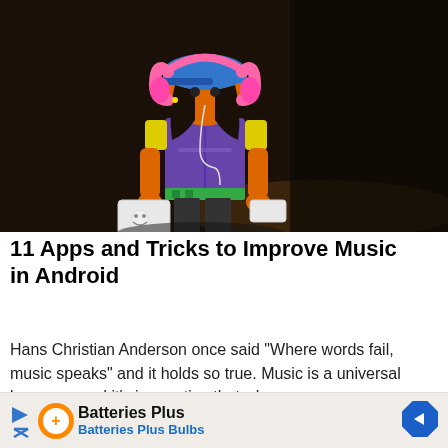[Figure (photo): A colorful Playmobil toy figure wearing pink headphones and a blue cap, holding a white device, against a dark blurred background]
11 Apps and Tricks to Improve Music in Android
Hans Christian Anderson once said “Where words fail, music speaks” and it holds so true. Music is a universal language and it’s imperative that when…
[Figure (infographic): Advertisement banner for Batteries Plus / Batteries Plus Bulbs with orange circular logo, play/close icons, and blue diamond arrow icon]